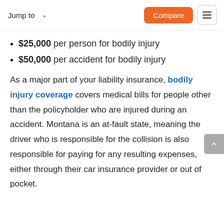Jump to   Compare
$25,000 per person for bodily injury
$50,000 per accident for bodily injury
As a major part of your liability insurance, bodily injury coverage covers medical bills for people other than the policyholder who are injured during an accident. Montana is an at-fault state, meaning the driver who is responsible for the collision is also responsible for paying for any resulting expenses, either through their car insurance provider or out of pocket.